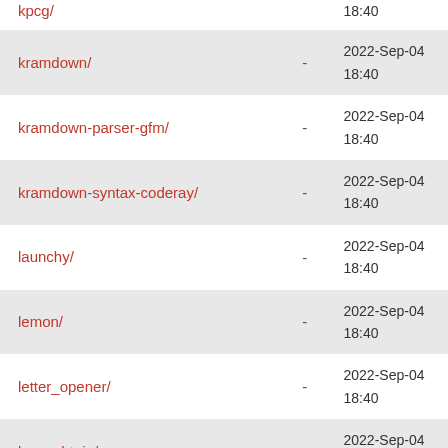| Name | Size | Date |
| --- | --- | --- |
| kpcg/ | - | 18:40 |
| kramdown/ | - | 2022-Sep-04 18:40 |
| kramdown-parser-gfm/ | - | 2022-Sep-04 18:40 |
| kramdown-syntax-coderay/ | - | 2022-Sep-04 18:40 |
| launchy/ | - | 2022-Sep-04 18:40 |
| lemon/ | - | 2022-Sep-04 18:40 |
| letter_opener/ | - | 2022-Sep-04 18:40 |
| levenshtein/ | - | 2022-Sep-04 18:40 |